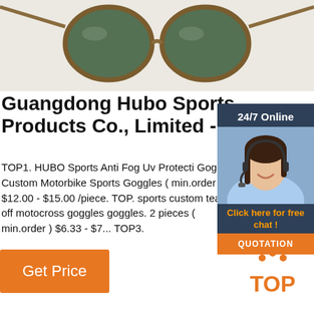[Figure (photo): Product photo of sunglasses with round green lenses and tortoise frames on a light background]
Guangdong Hubo Sports Products Co., Limited -
TOP1. HUBO Sports Anti Fog Uv Protecti Goggl Custom Motorbike Sports Goggles ( min.order ) $12.00 - $15.00 /piece. TOP. sports custom tear off motocross goggles goggles. 2 pieces ( min.order ) $6.33 - $7... TOP3.
[Figure (photo): 24/7 customer service agent - woman with headset smiling, with 24/7 Online badge, Click here for free chat text, and QUOTATION orange button]
Get Price
[Figure (logo): TOP logo in orange with orange dots above]